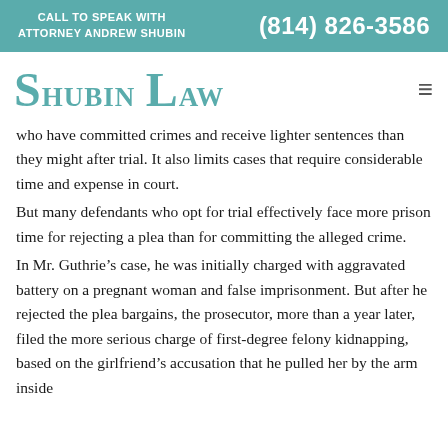CALL TO SPEAK WITH ATTORNEY ANDREW SHUBIN | (814) 826-3586
Shubin Law
who have committed crimes and receive lighter sentences than they might after trial. It also limits cases that require considerable time and expense in court.
But many defendants who opt for trial effectively face more prison time for rejecting a plea than for committing the alleged crime.
In Mr. Guthrie's case, he was initially charged with aggravated battery on a pregnant woman and false imprisonment. But after he rejected the plea bargains, the prosecutor, more than a year later, filed the more serious charge of first-degree felony kidnapping, based on the girlfriend's accusation that he pulled her by the arm inside